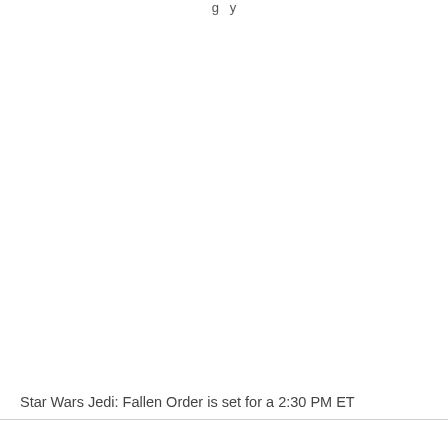g y
Star Wars Jedi: Fallen Order is set for a 2:30 PM ET